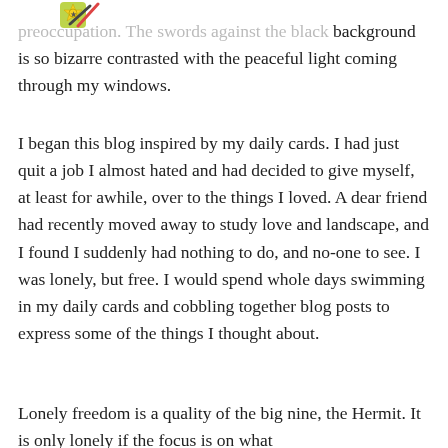[Figure (logo): Small colorful logo with star and crossed items in top left area]
preoccupation. The swords against the black background is so bizarre contrasted with the peaceful light coming through my windows.
I began this blog inspired by my daily cards. I had just quit a job I almost hated and had decided to give myself, at least for awhile, over to the things I loved. A dear friend had recently moved away to study love and landscape, and I found I suddenly had nothing to do, and no-one to see. I was lonely, but free. I would spend whole days swimming in my daily cards and cobbling together blog posts to express some of the things I thought about.
Lonely freedom is a quality of the big nine, the Hermit. It is only lonely if the focus is on what